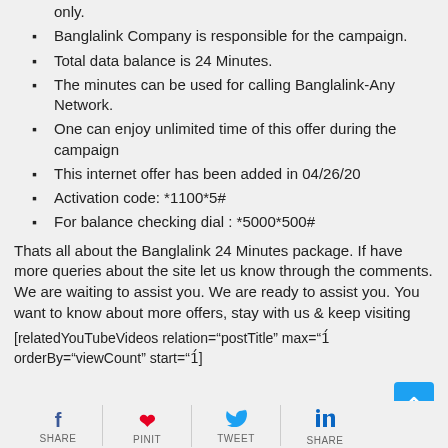This campaign is eligible for the Banglalink prepaid customer only.
Banglalink Company is responsible for the campaign.
Total data balance is 24 Minutes.
The minutes can be used for calling Banglalink-Any Network.
One can enjoy unlimited time of this offer during the campaign
This internet offer has been added in 04/26/20
Activation code: *1100*5#
For balance checking dial : *5000*500#
Thats all about the Banglalink 24 Minutes package. If have more queries about the site let us know through the comments. We are waiting to assist you. We are ready to assist you. You want to know about more offers, stay with us & keep visiting
[relatedYouTubeVideos relation="postTitle" max="1" orderBy="viewCount" start="1"]
SHARE PINIT TWEET SHARE